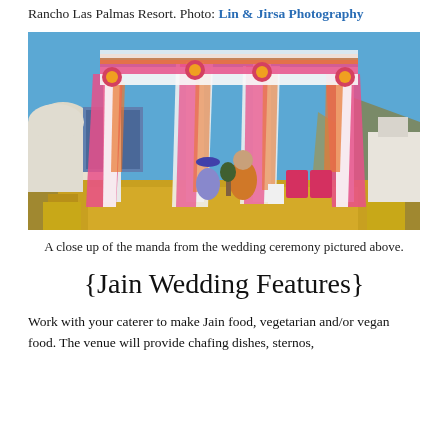Rancho Las Palmas Resort. Photo: Lin & Jirsa Photography
[Figure (photo): A close up of a mandap/manda with pink, orange, and white drapes on a golden stage at an outdoor wedding ceremony. People are seated on the stage with colorful chairs and floral decorations.]
A close up of the manda from the wedding ceremony pictured above.
{Jain Wedding Features}
Work with your caterer to make Jain food, vegetarian and/or vegan food. The venue will provide chafing dishes, sternos,